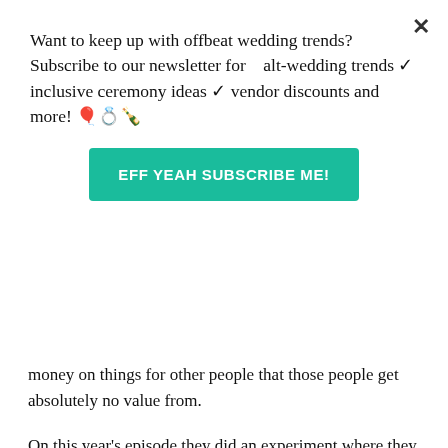Want to keep up with offbeat wedding trends?Subscribe to our newsletter for alt-wedding trends ✓ inclusive ceremony ideas ✓ vendor discounts and more! 🎈💍🍾
EFF YEAH SUBSCRIBE ME!
money on things for other people that those people get absolutely no value from.
On this year's episode they did an experiment where they took some (maybe 10) kids and gave them each a treat randomly. These ranged from raisins to candy bars. Then they had each kid say how satisfied they were with their treat from 1 to 10. There were a lot of unhappy campers. But then they asked the kids how they could increase the overall happiness with the treats (valued as each of the 1-10 ratings added up into one number). The kids settled on trading the treats with each other. The kids ended up with things they liked way more (like I think the person who got the raisins